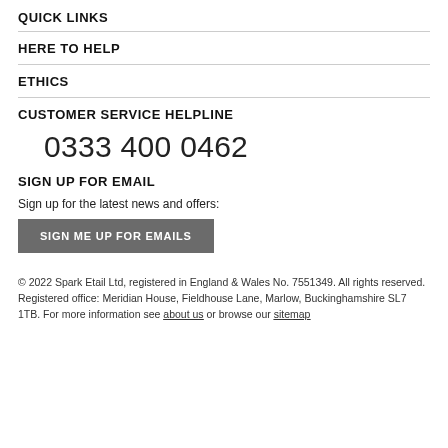QUICK LINKS
HERE TO HELP
ETHICS
CUSTOMER SERVICE HELPLINE
0333 400 0462
SIGN UP FOR EMAIL
Sign up for the latest news and offers:
SIGN ME UP FOR EMAILS
© 2022 Spark Etail Ltd, registered in England & Wales No. 7551349. All rights reserved. Registered office: Meridian House, Fieldhouse Lane, Marlow, Buckinghamshire SL7 1TB. For more information see about us or browse our sitemap